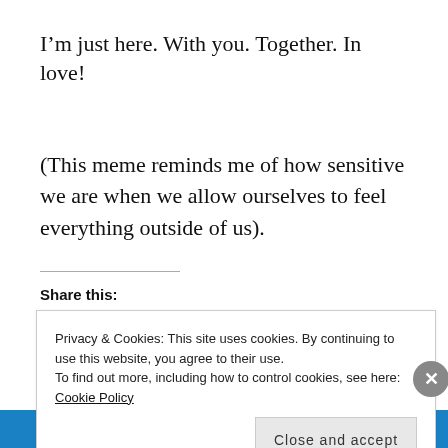I’m just here. With you. Together. In love!
(This meme reminds me of how sensitive we are when we allow ourselves to feel everything outside of us).
Share this:
Privacy & Cookies: This site uses cookies. By continuing to use this website, you agree to their use.
To find out more, including how to control cookies, see here: Cookie Policy
Close and accept